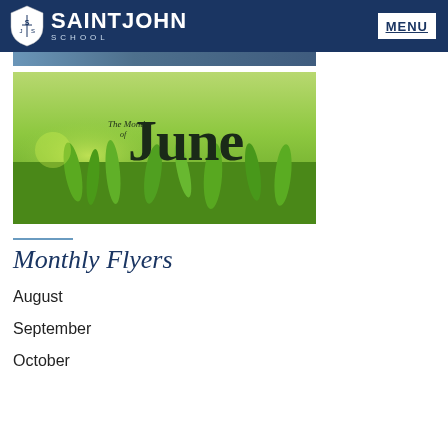SAINT JOHN SCHOOL — MENU
[Figure (photo): Banner strip with blue gradient at top of page]
[Figure (photo): Green grass background image with text overlay reading 'The Month of June' in large serif font]
Monthly Flyers
August
September
October